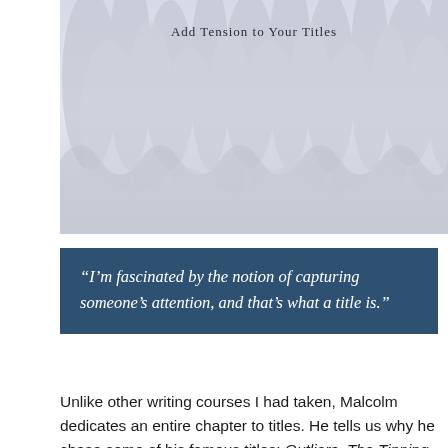[Figure (illustration): Banner image with white/light grey paper-cut or layered texture design with the text 'Add Tension to Your Titles' overlaid at the top center]
“I’m fascinated by the notion of capturing someone’s attention, and that’s what a title is.”
Unlike other writing courses I had taken, Malcolm dedicates an entire chapter to titles. He tells us why he chose some of his famous titles: Outliers, The Tipping Point, Blink, and What the Dog Saw